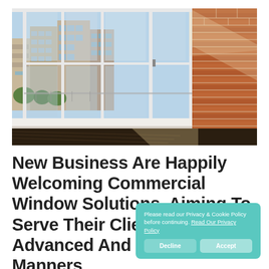[Figure (photo): Interior photo of a modern high-rise balcony/sunroom with large white-framed windows showing a cityscape view. Brick wall on the right side, dark wood floor with sunlight streaming in.]
New Business Are Happily Welcoming Commercial Window Solutions, Aiming To Serve Their Clients In Advanced And Refined Manners
Please read our Privacy & Cookie Policy before continuing. Read Our Privacy Policy
Decline   Accept